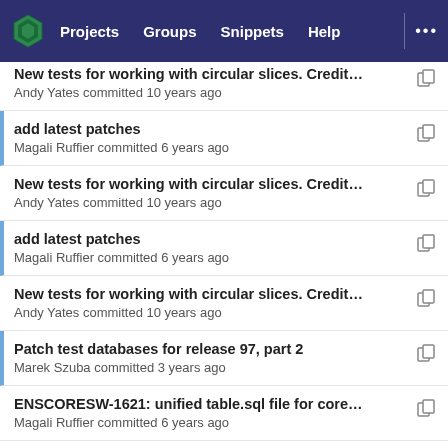Projects  Groups  Snippets  Help  ...
New tests for working with circular slices. Credit g...
Andy Yates committed 10 years ago
add latest patches
Magali Ruffier committed 6 years ago
New tests for working with circular slices. Credit g...
Andy Yates committed 10 years ago
add latest patches
Magali Ruffier committed 6 years ago
New tests for working with circular slices. Credit g...
Andy Yates committed 10 years ago
Patch test databases for release 97, part 2
Marek Szuba committed 3 years ago
ENSCORESW-1621: unified table.sql file for core d...
Magali Ruffier committed 6 years ago
New tests for working with circular slices. Credit g...